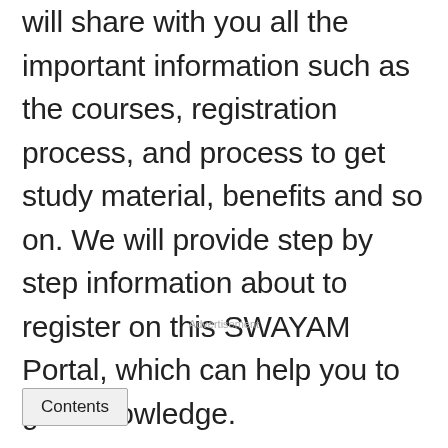will share with you all the important information such as the courses, registration process, and process to get study material, benefits and so on. We will provide step by step information about to register on this SWAYAM Portal, which can help you to gain knowledge.
Advertisement
Contents